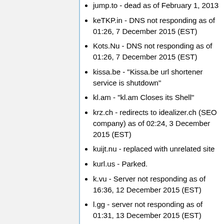jump.to - dead as of February 1, 2013
keTKP.in - DNS not responding as of 01:26, 7 December 2015 (EST)
Kots.Nu - DNS not responding as of 01:26, 7 December 2015 (EST)
kissa.be - "Kissa.be url shortener service is shutdown"
kl.am - "kl.am Closes its Shell"
krz.ch - redirects to idealizer.ch (SEO company) as of 02:24, 3 December 2015 (EST)
kuijt.nu - replaced with unrelated site
kurl.us - Parked.
k.vu - Server not responding as of 16:36, 12 December 2015 (EST)
l.gg - server not responding as of 01:31, 13 December 2015 (EST)
liltext.com - DNS not responding as of...